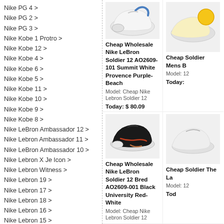Nike PG 4 >
Nike PG 2 >
Nike PG 3 >
Nike Kobe 1 Protro >
Nike Kobe 12 >
Nike Kobe 4 >
Nike Kobe 6 >
Nike Kobe 5 >
Nike Kobe 11 >
Nike Kobe 10 >
Nike Kobe 9 >
Nike Kobe 8 >
Nike LeBron Ambassador 12 >
Nike Lebron Ambassador 11 >
Nike LeBron Ambassador 10 >
Nike Lebron X Je Icon >
Nike Lebron Witness >
Nike Lebron 19 >
Nike Lebron 17 >
Nike Lebron 18 >
Nike Lebron 16 >
Nike Lebron 15 >
Nike Lebron 14 >
Nike Lebron 13 >
Nike Lebron 12 >
Nike Lebron 11 >
Nike Lebron 10 >
[Figure (photo): White/blue Nike LeBron Soldier 12 basketball shoe]
Cheap Wholesale Nike LeBron Soldier 12 AO2609-101 Summit White Provence Purple-Beach
Model: Cheap Nike Lebron Soldier 12
Today: $ 80.09
[Figure (photo): Partially visible yellow/colored Nike shoe on right side]
Cheap Soldier Mens B
Model: 12
Today:
[Figure (photo): Black Nike LeBron Soldier 12 Bred basketball shoe]
Cheap Wholesale Nike LeBron Soldier 12 Bred AO2609-001 Black University Red-White
Model: Cheap Nike Lebron Soldier 12
[Figure (photo): Partially visible white/grey Nike shoe on right side]
Cheap Soldier The La
Model: 12
Tod